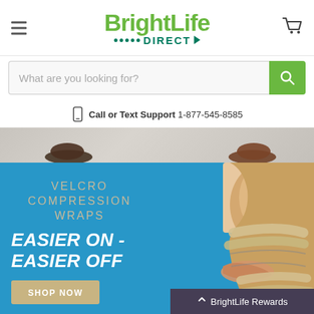[Figure (logo): BrightLife DIRECT logo in green with dots and arrow]
[Figure (screenshot): Search bar with placeholder 'What are you looking for?' and green search button]
Call or Text Support 1-877-545-8585
[Figure (photo): Partial photo showing feet/shoes at bottom of hero image]
[Figure (photo): Blue banner with person applying velcro compression wraps to leg. Text: VELCRO COMPRESSION WRAPS EASIER ON - EASIER OFF SHOP NOW]
BrightLife Rewards